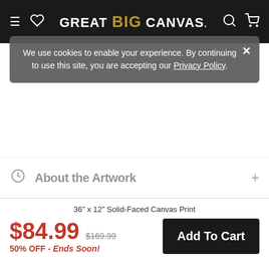GREAT BIG CANVAS
We use cookies to enable your experience. By continuing to use this site, you are accepting our Privacy Policy.
About the Artwork
About the Artist
Product Specifications
Product Features
36" x 12" Solid-Faced Canvas Print
$84.99  $169.99  50% OFF - Ends Soon!
Add To Cart